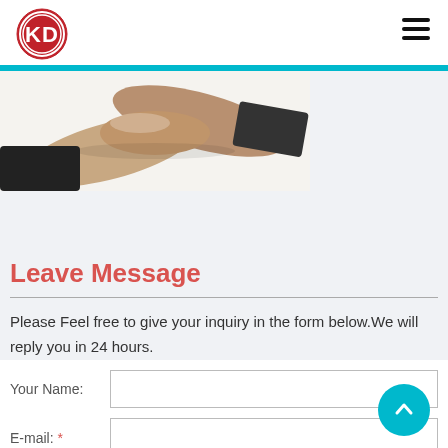[Figure (logo): KD logo — red circle with white KD letters inside, double circle border]
[Figure (illustration): Hamburger menu icon — three horizontal black lines]
[Figure (photo): Partial photo of two people shaking hands, cropped to show only the clasped hands area, on a light background]
Leave Message
Please Feel free to give your inquiry in the form below.We will reply you in 24 hours.
Your Name:
E-mail: *